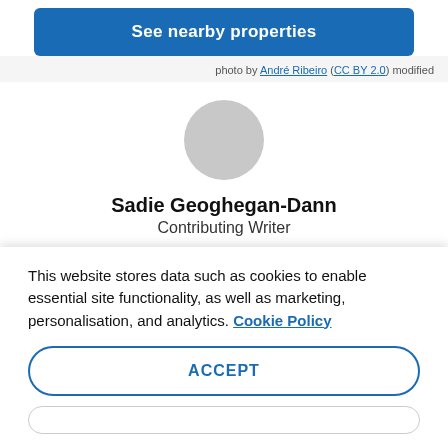[Figure (other): Blue button labeled 'See nearby properties']
photo by André Ribeiro (CC BY 2.0) modified
[Figure (other): Circular grey avatar placeholder image]
Sadie Geoghegan-Dann
Contributing Writer
This article includes opinions of the Go Guides editorial team. Hotels.com compensates authors for their writings appearing on this site; such compensation may include travel and other costs.
This website stores data such as cookies to enable essential site functionality, as well as marketing, personalisation, and analytics. Cookie Policy
ACCEPT